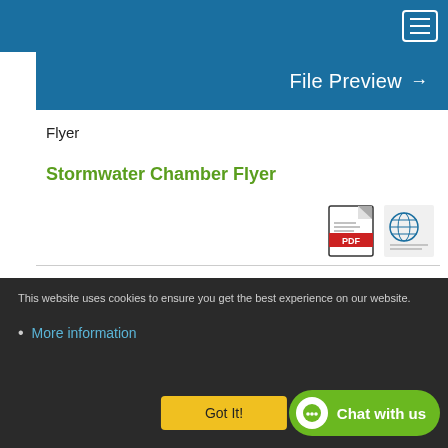File Preview →
Flyer
Stormwater Chamber Flyer
[Figure (other): PDF icon and globe/web icon for file download links]
This website uses cookies to ensure you get the best experience on our website.
More information
Got It!
Chat with us